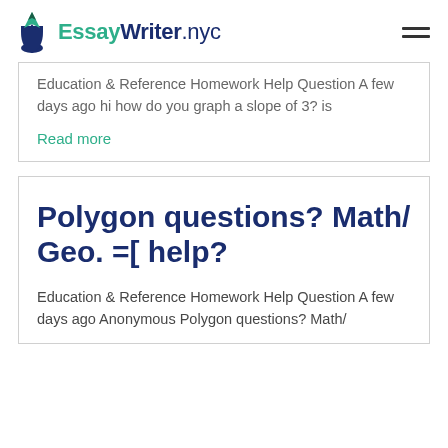EssayWriter.nyc
Education & Reference Homework Help Question A few days ago hi how do you graph a slope of 3? is
Read more
Polygon questions? Math/Geo. =[ help?
Education & Reference Homework Help Question A few days ago Anonymous Polygon questions? Math/